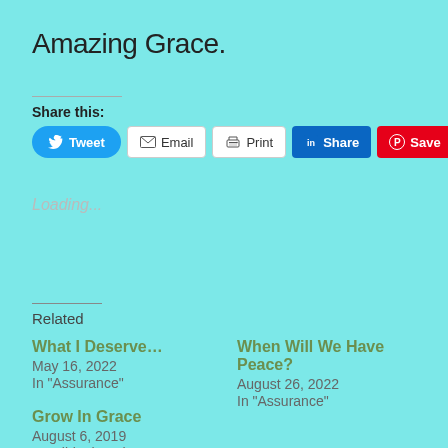Amazing Grace.
Share this:
[Figure (other): Social sharing buttons: Tweet, Email, Print, Share (LinkedIn), Save (Pinterest)]
Loading...
Related
What I Deserve…
May 16, 2022
In "Assurance"
When Will We Have Peace?
August 26, 2022
In "Assurance"
Grow In Grace
August 6, 2019
In "Bible thoughts"